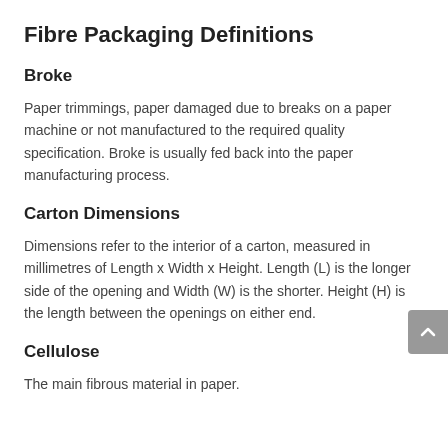Fibre Packaging Definitions
Broke
Paper trimmings, paper damaged due to breaks on a paper machine or not manufactured to the required quality specification. Broke is usually fed back into the paper manufacturing process.
Carton Dimensions
Dimensions refer to the interior of a carton, measured in millimetres of Length x Width x Height. Length (L) is the longer side of the opening and Width (W) is the shorter. Height (H) is the length between the openings on either end.
Cellulose
The main fibrous material in paper.